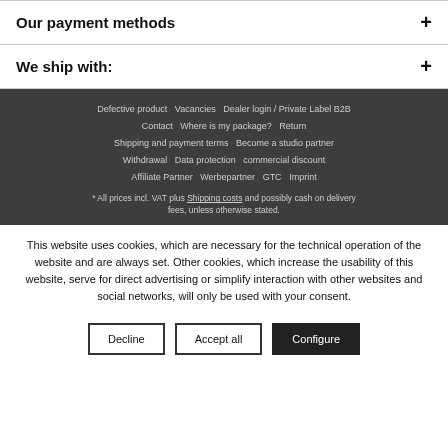Our payment methods
We ship with:
Defective product   Vacancies   Dealer login / Private Label B2B   Contact   Where is my package?   Return   Shipping and payment terms   Become a studio partner   Withdrawal   Data protection   commercial discount   Affiliate Partner   Werbepartner   GTC   Imprint
* All prices incl. VAT plus Shipping costs and possibly cash on delivery fees, unless otherwise stated.
This website uses cookies, which are necessary for the technical operation of the website and are always set. Other cookies, which increase the usability of this website, serve for direct advertising or simplify interaction with other websites and social networks, will only be used with your consent.
Decline   Accept all   Configure